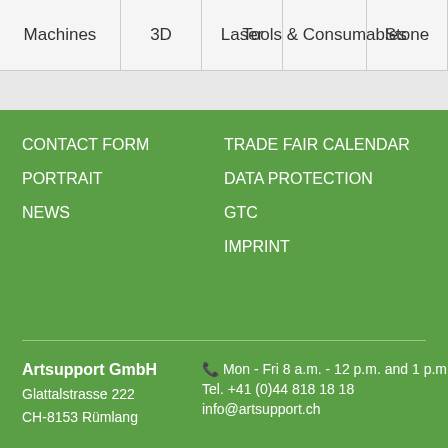Machines | 3D | Laser | Tools & Consumables | Stone
CONTACT FORM
PORTRAIT
NEWS
TRADE FAIR CALENDAR
DATA PROTECTION
GTC
IMPRINT
Artsupport GmbH | Glattalstrasse 222 | CH-8153 Rümlang | Mon - Fri 8 a.m. - 12 p.m. and 1 p.m. - 5:00 | Tel. +41 (0)44 818 18 18 | info@artsupport.ch